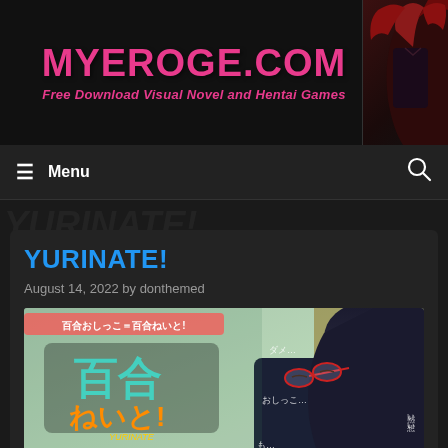MYEROGE.COM — Free Download Visual Novel and Hentai Games
YURINATE!
August 14, 2022 by donthemed
[Figure (illustration): Anime/manga style illustration serving as cover art for YURINATE! visual novel game, showing a female character with dark hair wearing a dark school uniform, with Japanese text overlaid.]